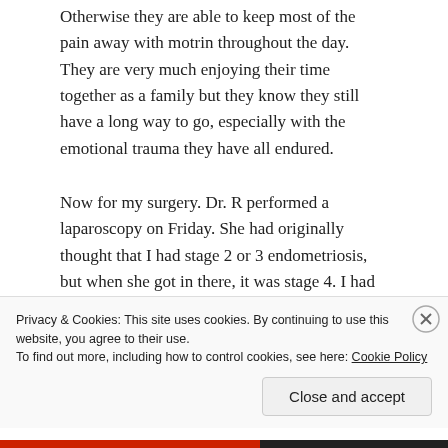Otherwise they are able to keep most of the pain away with motrin throughout the day.  They are very much enjoying their time together as a family but they know they still have a long way to go, especially with the emotional trauma they have all endured.
Now for my surgery.  Dr. R performed a laparoscopy on Friday.  She had originally thought that I had stage 2 or 3 endometriosis, but when she got in there, it was stage 4.  I had endometrial cysts on both ovaries, some tissue on my left tube and all over my bladder.  She was able to get it all cleaned out and also dilated my cervix 3-4cm to
Privacy & Cookies: This site uses cookies. By continuing to use this website, you agree to their use.
To find out more, including how to control cookies, see here: Cookie Policy